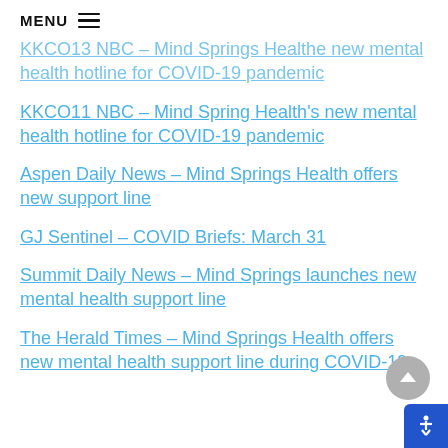MENU
KKCO13 NBC – Mind Springs Healthe new mental health hotline for COVID-19 pandemic
KKCO11 NBC – Mind Spring Health's new mental health hotline for COVID-19 pandemic
Aspen Daily News – Mind Springs Health offers new support line
GJ Sentinel – COVID Briefs: March 31
Summit Daily News – Mind Springs launches new mental health support line
The Herald Times – Mind Springs Health offers new mental health support line during COVID-19